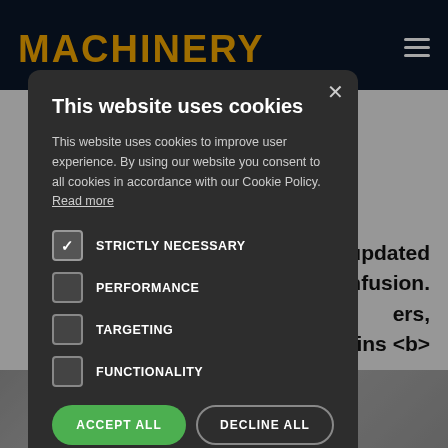[Figure (screenshot): Machinery website header with yellow bold logo text 'MACHINERY' on dark navy background, hamburger menu icon top right]
v, updated confusion. ers, ins <b>
This website uses cookies
This website uses cookies to improve user experience. By using our website you consent to all cookies in accordance with our Cookie Policy. Read more
STRICTLY NECESSARY (checked)
PERFORMANCE
TARGETING
FUNCTIONALITY
ACCEPT ALL
DECLINE ALL
SHOW DETAILS